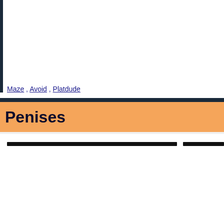Maze , Avoid , Platdude
Penises